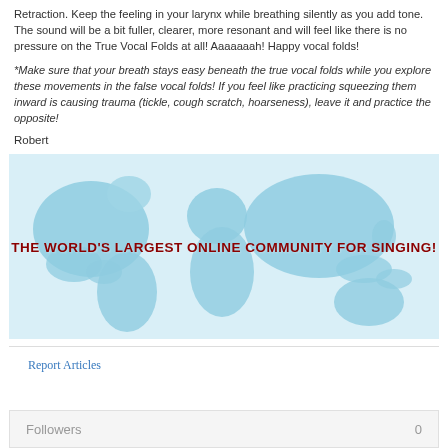Retraction. Keep the feeling in your larynx while breathing silently as you add tone. The sound will be a bit fuller, clearer, more resonant and will feel like there is no pressure on the True Vocal Folds at all! Aaaaaaah! Happy vocal folds!
*Make sure that your breath stays easy beneath the true vocal folds while you explore these movements in the false vocal folds! If you feel like practicing squeezing them inward is causing trauma (tickle, cough scratch, hoarseness), leave it and practice the opposite!
Robert
[Figure (illustration): World map banner with light blue continents on white/light blue background, with bold dark red text reading 'THE WORLD'S LARGEST ONLINE COMMUNITY FOR SINGING!']
Report Articles
Followers 0